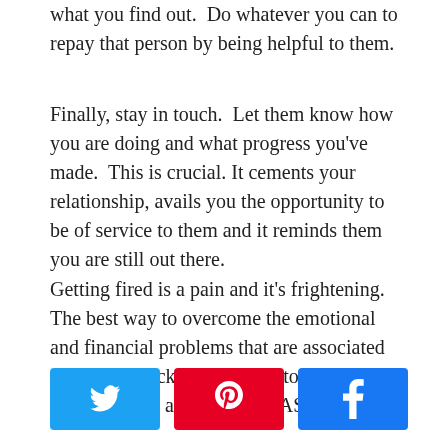what you find out.  Do whatever you can to repay that person by being helpful to them.
Finally, stay in touch.  Let them know how you are doing and what progress you've made.  This is crucial.  It cements your relationship, avails you the opportunity to be of service to them and it reminds them you are still out there.
Getting fired is a pain and it's frightening.  The best way to overcome the emotional and financial problems that are associated with being sacked is to get into action on finding a new and better job ASAP.
[Figure (other): Three social share buttons: Twitter (blue), Pinterest (red), Facebook (blue)]